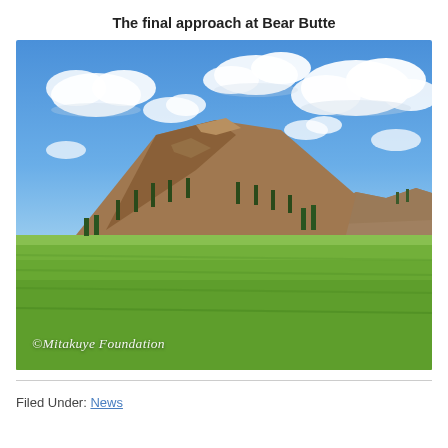The final approach at Bear Butte
[Figure (photo): Landscape photograph of Bear Butte, a prominent rocky mountain peak rising from green grassland plains under a blue sky with scattered white clouds. A watermark reads '©Mitakuye Foundation' in italic text at the bottom left.]
Filed Under: News